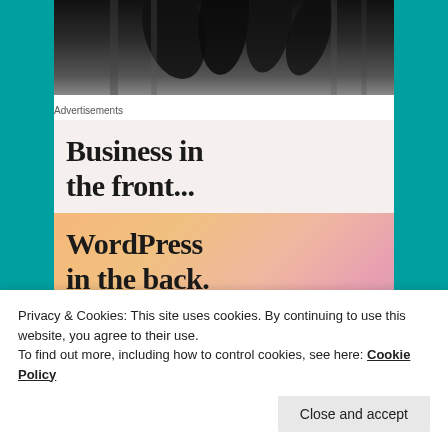[Figure (photo): Black and white close-up photograph, partially visible at top of page, showing abstract dark shapes with light striped patterns.]
Advertisements
[Figure (infographic): Advertisement banner with two sections. Top section on light beige background reads 'Business in the front...' in large serif bold font. Bottom section on gradient orange-pink background reads 'WordPress in the back.' in large serif bold font.]
Privacy & Cookies: This site uses cookies. By continuing to use this website, you agree to their use.
To find out more, including how to control cookies, see here: Cookie Policy
Close and accept